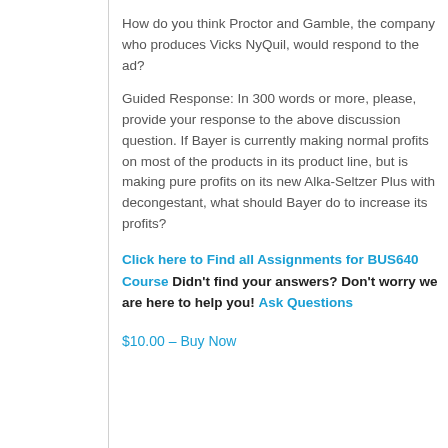How do you think Proctor and Gamble, the company who produces Vicks NyQuil, would respond to the ad?
Guided Response: In 300 words or more, please, provide your response to the above discussion question. If Bayer is currently making normal profits on most of the products in its product line, but is making pure profits on its new Alka-Seltzer Plus with decongestant, what should Bayer do to increase its profits?
Click here to Find all Assignments for BUS640 Course Didn't find your answers? Don't worry we are here to help you! Ask Questions
$10.00 – Buy Now